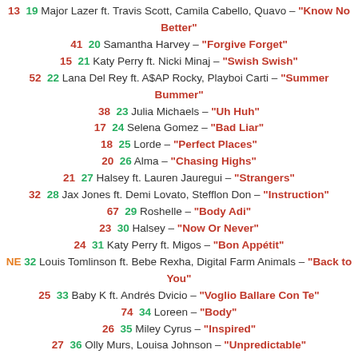13 19 Major Lazer ft. Travis Scott, Camila Cabello, Quavo – "Know No Better"
41 20 Samantha Harvey – "Forgive Forget"
15 21 Katy Perry ft. Nicki Minaj – "Swish Swish"
52 22 Lana Del Rey ft. A$AP Rocky, Playboi Carti – "Summer Bummer"
38 23 Julia Michaels – "Uh Huh"
17 24 Selena Gomez – "Bad Liar"
18 25 Lorde – "Perfect Places"
20 26 Alma – "Chasing Highs"
21 27 Halsey ft. Lauren Jauregui – "Strangers"
32 28 Jax Jones ft. Demi Lovato, Stefflon Don – "Instruction"
67 29 Roshelle – "Body Adi"
23 30 Halsey – "Now Or Never"
24 31 Katy Perry ft. Migos – "Bon Appétit"
NE 32 Louis Tomlinson ft. Bebe Rexha, Digital Farm Animals – "Back to You"
25 33 Baby K ft. Andrés Dvicio – "Voglio Ballare Con Te"
74 34 Loreen – "Body"
26 35 Miley Cyrus – "Inspired"
27 36 Olly Murs, Louisa Johnson – "Unpredictable"
29 37 The Veronicas – "The Only High"